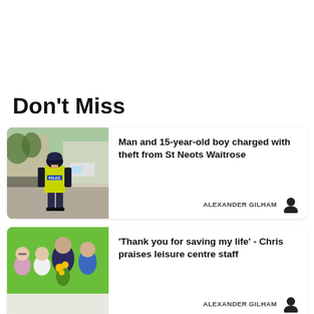Don't Miss
[Figure (photo): Police officer in hi-vis vest walking away from camera on a street]
Man and 15-year-old boy charged with theft from St Neots Waitrose
ALEXANDER GILHAM
[Figure (photo): Group of people standing together in front of a green wall, one holding sunflowers]
'Thank you for saving my life' - Chris praises leisure centre staff
ALEXANDER GILHAM